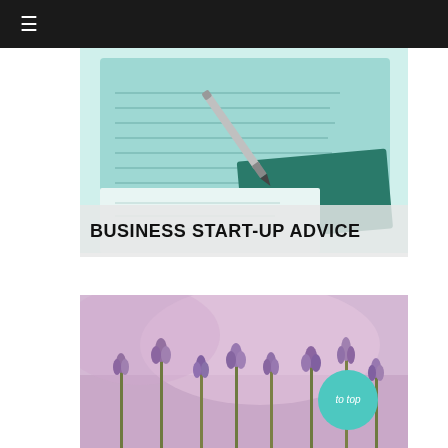≡
[Figure (photo): A silver pen resting on a teal/mint colored lined notebook, viewed from above at an angle on a light background.]
BUSINESS START-UP ADVICE
[Figure (photo): Close-up photo of purple lavender flowers in bloom against a soft pink/purple blurred background.]